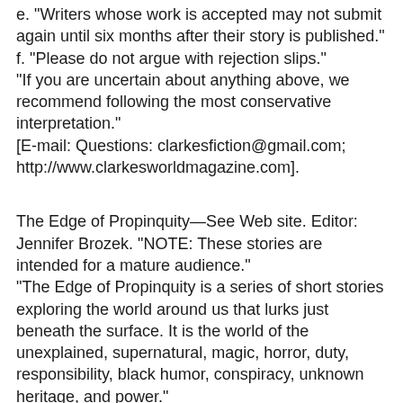e. "Writers whose work is accepted may not submit again until six months after their story is published."
f. "Please do not argue with rejection slips."
"If you are uncertain about anything above, we recommend following the most conservative interpretation."
[E-mail: Questions: clarkesfiction@gmail.com; http://www.clarkesworldmagazine.com].
The Edge of Propinquity—See Web site. Editor: Jennifer Brozek. "NOTE: These stories are intended for a mature audience."
"The Edge of Propinquity is a series of short stories exploring the world around us that lurks just beneath the surface. It is the world of the unexplained, supernatural, magic, horror, duty, responsibility, black humor, conspiracy, unknown heritage, and power."
Theme for 2009: "The theme for the 2009 year of TEoP is ‘Compromise.’ The theme for the first year of The Edge of Propinquity was ‘Revelations.’ The theme for the second year was ‘Consequences.’ The theme for the third year was ‘Retaliation.’ Your story may encompass and expand on the